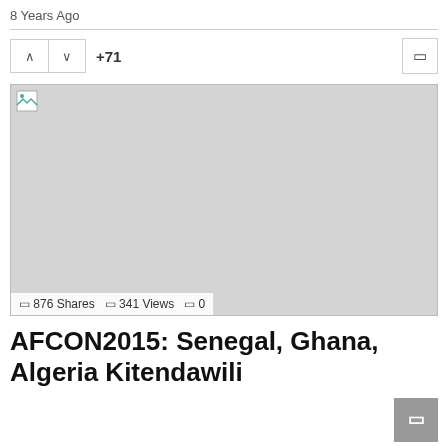8 Years Ago
+71
[Figure (photo): Broken/missing image placeholder shown as a grey rectangle with a small broken image icon in the top-left corner. Stats overlay at the bottom: 876 Shares, 341 Views, 0 comments.]
AFCON2015: Senegal, Ghana, Algeria Kitendawili